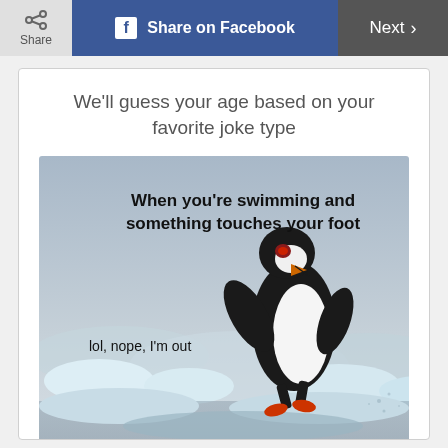Share | Share on Facebook | Next >
We'll guess your age based on your favorite joke type
[Figure (photo): Meme image showing a penguin jumping/running out of water on ice, with text: 'When you're swimming and something touches your foot' and 'lol, nope, I'm out']